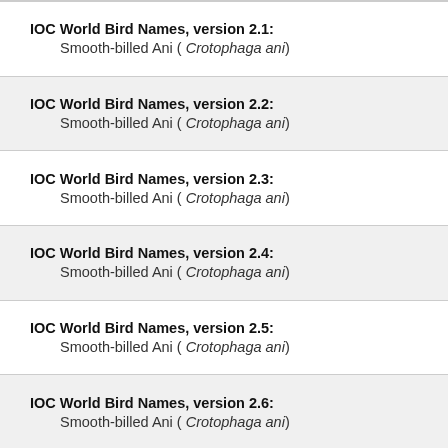IOC World Bird Names, version 2.1: Smooth-billed Ani ( Crotophaga ani)
IOC World Bird Names, version 2.2: Smooth-billed Ani ( Crotophaga ani)
IOC World Bird Names, version 2.3: Smooth-billed Ani ( Crotophaga ani)
IOC World Bird Names, version 2.4: Smooth-billed Ani ( Crotophaga ani)
IOC World Bird Names, version 2.5: Smooth-billed Ani ( Crotophaga ani)
IOC World Bird Names, version 2.6: Smooth-billed Ani ( Crotophaga ani)